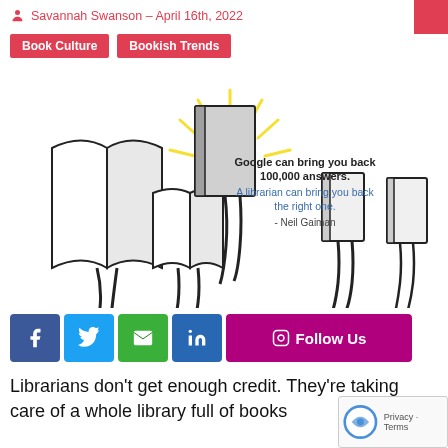Savannah Swanson – April 16th, 2022
Book Culture
Bookish Trends
[Figure (illustration): Illustration of multiple hands holding up open books, with one book emitting yellow light rays. Text overlay reads: 'Google can bring you back 100,000 answers. A librarian can bring you back the right one. - Neil Gaiman']
Librarians don't get enough credit. They're taking care of a whole library full of books
[Figure (other): reCAPTCHA widget showing Privacy - Terms]